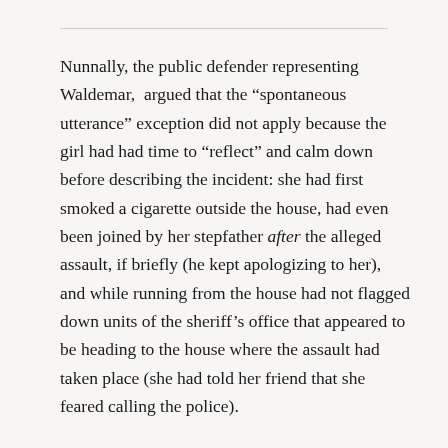Nunnally, the public defender representing Waldemar,  argued that the “spontaneous utterance” exception did not apply because the girl had had time to “reflect” and calm down before describing the incident: she had first smoked a cigarette outside the house, had even been joined by her stepfather after the alleged assault, if briefly (he kept apologizing to her), and while running from the house had not flagged down units of the sheriff’s office that appeared to be heading to the house where the assault had taken place (she had told her friend that she feared calling the police).